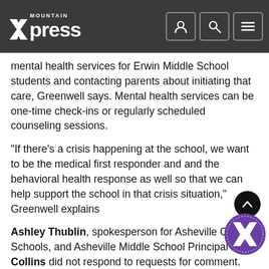Mountain Xpress
mental health services for Erwin Middle School students and contacting parents about initiating that care, Greenwell says. Mental health services can be one-time check-ins or regularly scheduled counseling sessions.
“If there’s a crisis happening at the school, we want to be the medical first responder and and the behavioral health response as well so that we can help support the school in that crisis situation,” Greenwell explains
Ashley Thublin, spokesperson for Asheville City Schools, and Asheville Middle School Principal April Collins did not respond to requests for comment.
Why school-based health centers?
Blue Ridge Health will continue to operate the SBHC at Asheville Middle School over summer break in a reduced capacity, says Greenwell. Students from Erwin Middle School who have begun telehealth behavioral health